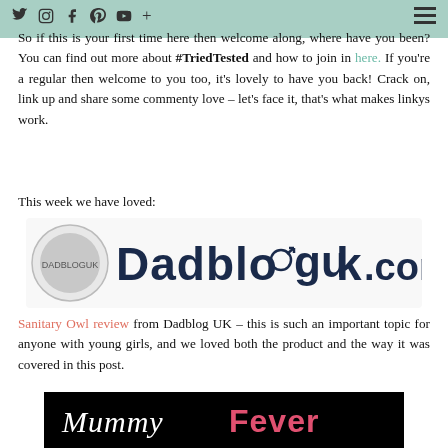Social media nav icons and hamburger menu
So if this is your first time here then welcome along, where have you been? You can find out more about #TriedTested and how to join in here. If you're a regular then welcome to you too, it's lovely to have you back! Crack on, link up and share some commenty love – let's face it, that's what makes linkys work.
This week we have loved:
[Figure (logo): Dadbloguk.com logo with circular emblem on left and bold navy text reading Dadbloguk.com]
Sanitary Owl review from Dadblog UK – this is such an important topic for anyone with young girls, and we loved both the product and the way it was covered in this post.
[Figure (logo): MummyFever logo: white cursive 'Mummy' and pink bold 'Fever' on black background]